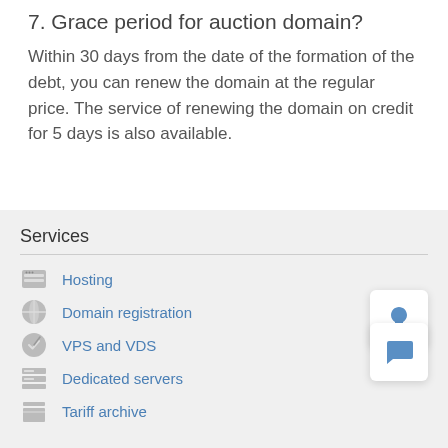7. Grace period for auction domain?
Within 30 days from the date of the formation of the debt, you can renew the domain at the regular price. The service of renewing the domain on credit for 5 days is also available.
Services
Hosting
Domain registration
VPS and VDS
Dedicated servers
Tariff archive